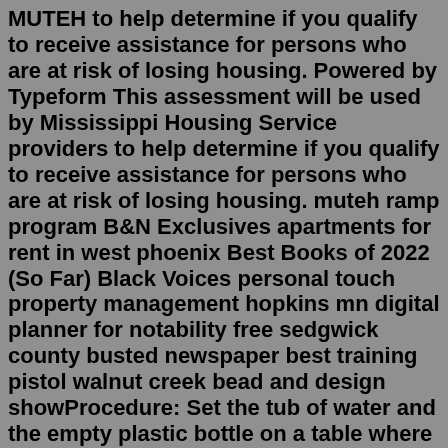MUTEH to help determine if you qualify to receive assistance for persons who are at risk of losing housing. Powered by Typeform This assessment will be used by Mississippi Housing Service providers to help determine if you qualify to receive assistance for persons who are at risk of losing housing. muteh ramp program B&N Exclusives apartments for rent in west phoenix Best Books of 2022 (So Far) Black Voices personal touch property management hopkins mn digital planner for notability free sedgwick county busted newspaper best training pistol walnut creek bead and design showProcedure: Set the tub of water and the empty plastic bottle on a table where all of the children can see it. Explain that the tub of water represents God and the bottle represents a person. The person can be yourself or a child in the room to make the object lesson more realistic and personal for the children.2022. 6. 30. · Add a Button control, set its Text property to show Cancel, and set its OnSelect property to this formula: ResetForm( EditForm ); Back() When the user selects the Cancel button, the